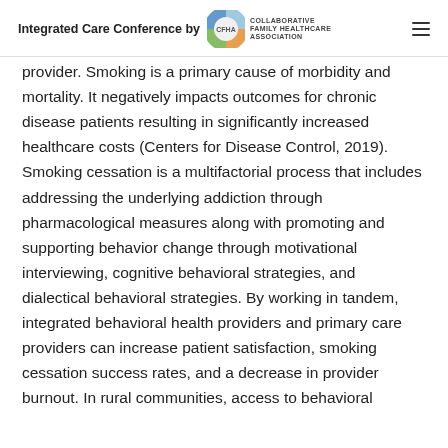Integrated Care Conference by CFHA COLLABORATIVE FAMILY HEALTHCARE ASSOCIATION
provider. Smoking is a primary cause of morbidity and mortality. It negatively impacts outcomes for chronic disease patients resulting in significantly increased healthcare costs (Centers for Disease Control, 2019). Smoking cessation is a multifactorial process that includes addressing the underlying addiction through pharmacological measures along with promoting and supporting behavior change through motivational interviewing, cognitive behavioral strategies, and dialectical behavioral strategies. By working in tandem, integrated behavioral health providers and primary care providers can increase patient satisfaction, smoking cessation success rates, and a decrease in provider burnout. In rural communities, access to behavioral